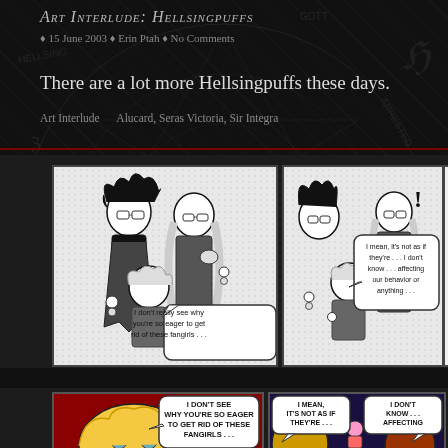Art Interlude: Hellsingpuffs
15 June 2003 ♦ Erin Ptah ♦ No Comments
There are a lot more Hellsingpuffs these days.
Art Interlude    Alucard, Seras Victoria, Sir Integra
[Figure (illustration): Black and white manga-style comic panel showing Hellsing characters (Alucard, Integra, Seras Victoria) holding small chibi fangirl figures. Speech bubble reads: I don't really see why you're so eager to get rid of these fangirls . . .]
[Figure (illustration): Black and white manga-style comic panel showing same characters reacting. Exclamation mark visible. Speech bubble reads: I mean, it's not as if they're . . . I don't know . . . affecting our behavior or anything . . .]
[Figure (illustration): Color comic panel (Powerpuff Girls style) showing blonde character with speech bubble: I DON'T SEE WHY YOU'RE SO EAGER TO GET RID OF THESE FANGIRLS . . .]
[Figure (illustration): Color comic panel (Powerpuff Girls style) with two speech bubbles: I MEAN, IT'S NOT AS IF THEY'RE . . . and I DON'T KNOW . . . AFFECTING]